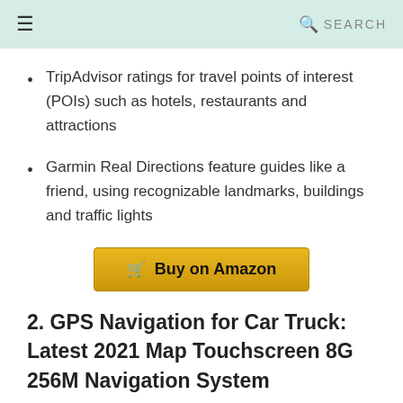≡   🔍 SEARCH
TripAdvisor ratings for travel points of interest (POIs) such as hotels, restaurants and attractions
Garmin Real Directions feature guides like a friend, using recognizable landmarks, buildings and traffic lights
[Figure (other): Buy on Amazon button with shopping cart icon]
2. GPS Navigation for Car Truck: Latest 2021 Map Touchscreen 8G 256M Navigation System